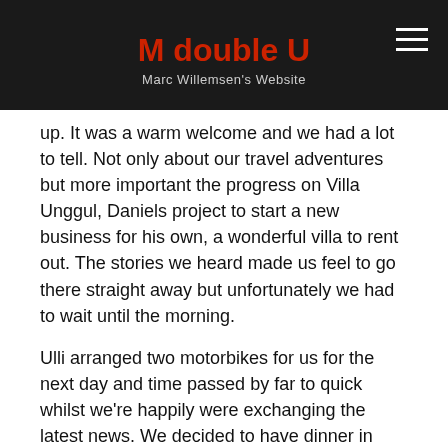M double U
Marc Willemsen's Website
up. It was a warm welcome and we had a lot to tell. Not only about our travel adventures but more important the progress on Villa Unggul, Daniels project to start a new business for his own, a wonderful villa to rent out. The stories we heard made us feel to go there straight away but unfortunately we had to wait until the morning.
Ulli arranged two motorbikes for us for the next day and time passed by far to quick whilst we're happily were exchanging the latest news. We decided to have dinner in Warung Enak and both Ulli and Daniel joined us. Nyoman had to stay at the house in to be there in case the other guests had any needs.
The first blue mountain (Cocktail) tasted fantastic, we